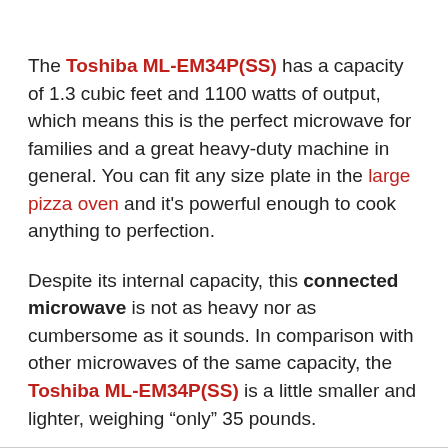The Toshiba ML-EM34P(SS) has a capacity of 1.3 cubic feet and 1100 watts of output, which means this is the perfect microwave for families and a great heavy-duty machine in general. You can fit any size plate in the large pizza oven and it's powerful enough to cook anything to perfection.
Despite its internal capacity, this connected microwave is not as heavy nor as cumbersome as it sounds. In comparison with other microwaves of the same capacity, the Toshiba ML-EM34P(SS) is a little smaller and lighter, weighing "only" 35 pounds.